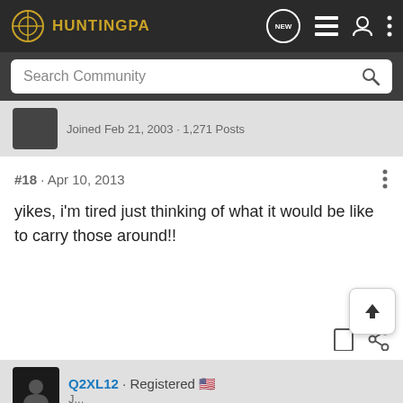HuntingPA
Search Community
Joined Feb 21, 2003 · 1,271 Posts
#18 · Apr 10, 2013
yikes, i'm tired just thinking of what it would be like to carry those around!!
Q2XL12 · Registered 🇺🇸
[Figure (infographic): Cabela's Highest-Rated Gear advertisement banner with logo, star rating 4.2, product image and play button]